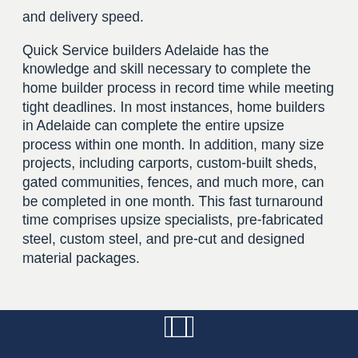and delivery speed.
Quick Service builders Adelaide has the knowledge and skill necessary to complete the home builder process in record time while meeting tight deadlines. In most instances, home builders in Adelaide can complete the entire upsize process within one month. In addition, many size projects, including carports, custom-built sheds, gated communities, fences, and much more, can be completed in one month. This fast turnaround time comprises upsize specialists, pre-fabricated steel, custom steel, and pre-cut and designed material packages.